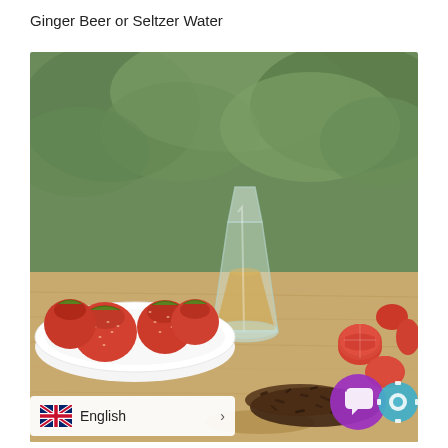Ginger Beer or Seltzer Water
[Figure (photo): A glass carafe with golden liquid (tea/ginger beer), a white bowl with fresh strawberries, sliced strawberries, and loose dried tea leaves/spices on a wooden cutting board, with green foliage in the background.]
English >